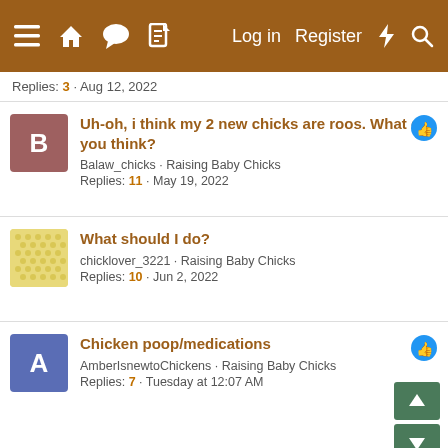Log in  Register
Replies: 3 · Aug 12, 2022
Uh-oh, i think my 2 new chicks are roos. What do you think?
Balaw_chicks · Raising Baby Chicks
Replies: 11 · May 19, 2022
What should I do?
chicklover_3221 · Raising Baby Chicks
Replies: 10 · Jun 2, 2022
Chicken poop/medications
AmberIsnewtoChickens · Raising Baby Chicks
Replies: 7 · Tuesday at 12:07 AM
Share:
Raising Baby Chicks